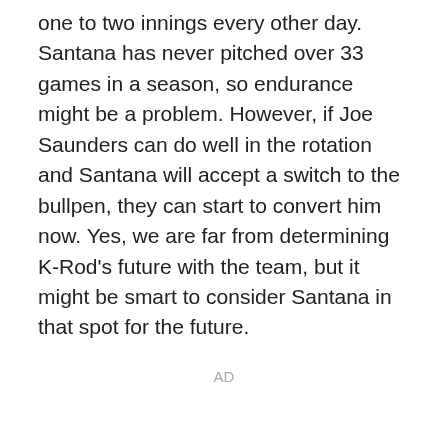one to two innings every other day. Santana has never pitched over 33 games in a season, so endurance might be a problem. However, if Joe Saunders can do well in the rotation and Santana will accept a switch to the bullpen, they can start to convert him now. Yes, we are far from determining K-Rod's future with the team, but it might be smart to consider Santana in that spot for the future.
AD